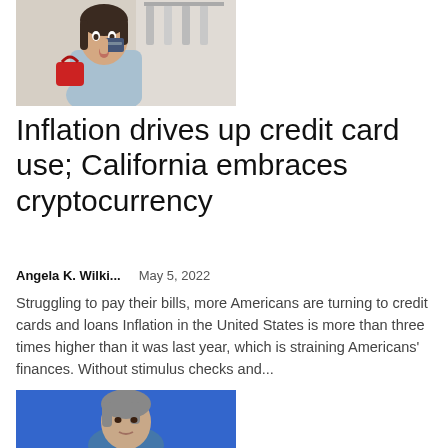[Figure (photo): Woman holding a credit card to her face with a surprised expression, holding a red handbag, in a store setting]
Inflation drives up credit card use; California embraces cryptocurrency
Angela K. Wilki...    May 5, 2022
Struggling to pay their bills, more Americans are turning to credit cards and loans Inflation in the United States is more than three times higher than it was last year, which is straining Americans' finances. Without stimulus checks and...
[Figure (photo): Man with grey hair against a blue background, partially visible at bottom of page]